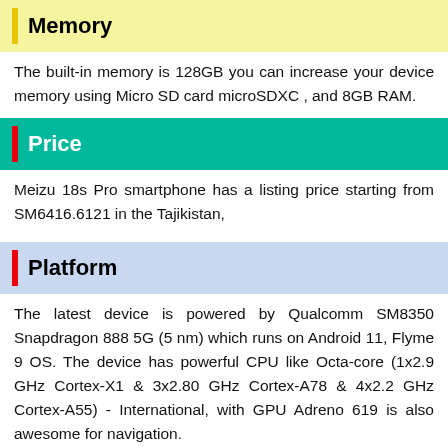Memory
The built-in memory is 128GB you can increase your device memory using Micro SD card microSDXC , and 8GB RAM.
Price
Meizu 18s Pro smartphone has a listing price starting from SM6416.6121 in the Tajikistan,
Platform
The latest device is powered by Qualcomm SM8350 Snapdragon 888 5G (5 nm) which runs on Android 11, Flyme 9 OS. The device has powerful CPU like Octa-core (1x2.9 GHz Cortex-X1 & 3x2.80 GHz Cortex-A78 & 4x2.2 GHz Cortex-A55) - International, with GPU Adreno 619 is also awesome for navigation.
C...